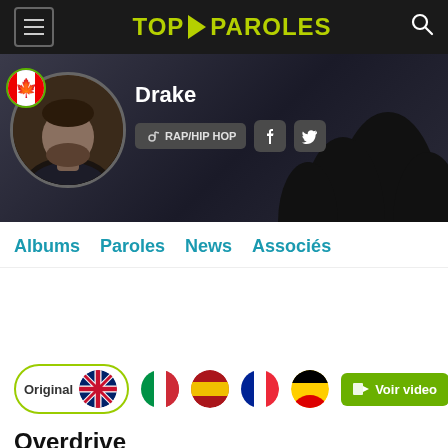TOP7PAROLES — navigation header with hamburger menu and search icon
[Figure (photo): Hero banner with dark background, Drake artist photo (circular), Canadian flag icon, artist name Drake, RAP/HIP HOP genre badge, Facebook and Twitter social buttons]
Drake
RAP/HIP HOP
Albums  Paroles  News  Associés
[Figure (illustration): Language flags row: Original with UK flag, Italian flag, Spanish flag, French flag, German flag, and Voir video green button]
Overdrive